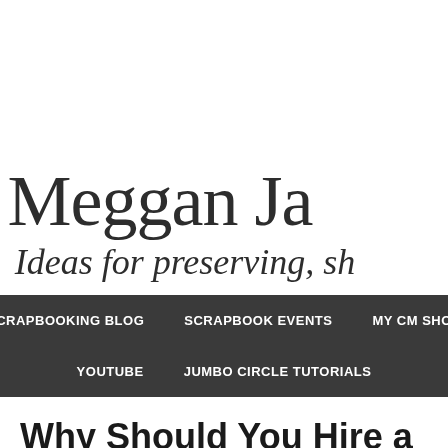Meggan Ja…
Ideas for preserving, sh…
SCRAPBOOKING BLOG | SCRAPBOOK EVENTS | MY CM SHOP | YOUTUBE | JUMBO CIRCLE TUTORIALS
Why Should You Hire a